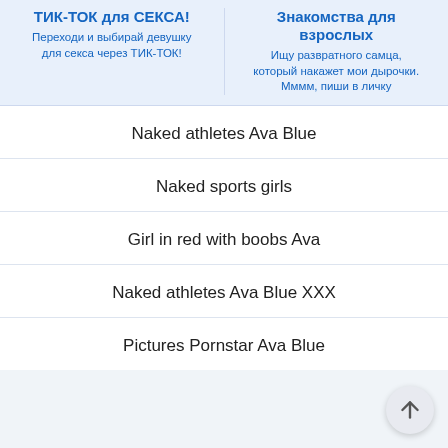ТИК-ТОК для СЕКСА!
Переходи и выбирай девушку для секса через ТИК-ТОК!
Знакомства для взрослых
Ищу развратного самца, который накажет мои дырочки. Мммм, пиши в личку
Naked athletes Ava Blue
Naked sports girls
Girl in red with boobs Ava
Naked athletes Ava Blue XXX
Pictures Pornstar Ava Blue